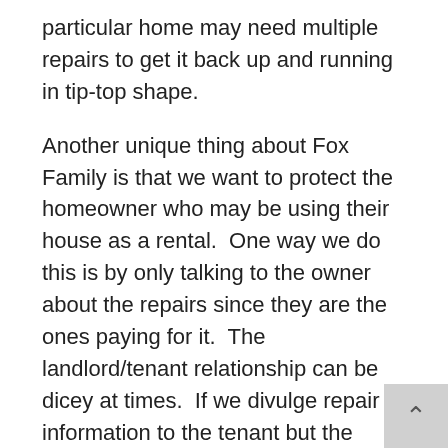particular home may need multiple repairs to get it back up and running in tip-top shape.
Another unique thing about Fox Family is that we want to protect the homeowner who may be using their house as a rental.  One way we do this is by only talking to the owner about the repairs since they are the ones paying for it.  The landlord/tenant relationship can be dicey at times.  If we divulge repair information to the tenant but the owner decides not to make that repair, it can stir up the relationship which is not what we want to contribute to.
We understand that maybe only one repair can be made that day.  Our customers' budgets differ fro... to another.  We simply make the suggestions and do